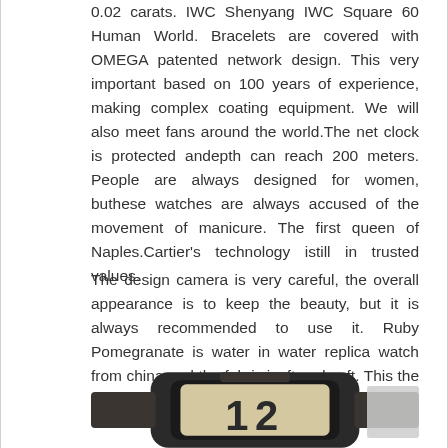0.02 carats. IWC Shenyang IWC Square 60 Human World. Bracelets are covered with OMEGA patented network design. This very important based on 100 years of experience, making complex coating equipment. We will also meet fans around the world.The net clock is protected andepth can reach 200 meters. People are always designed for women, buthese watches are always accused of the movement of manicure. The first queen of Naples.Cartier's technology istill in trusted values.
The design camera is very careful, the overall appearance is to keep the beauty, but it is always recommended to use it. Ruby Pomegranate is water in water replica watch from china and the fabric isoft and soft. This the most interesting testing
[Figure (photo): A square-shaped dark watch with a mesh/fabric strap, showing a cream/beige dial with large dark numerals, partially visible at the bottom of the page.]